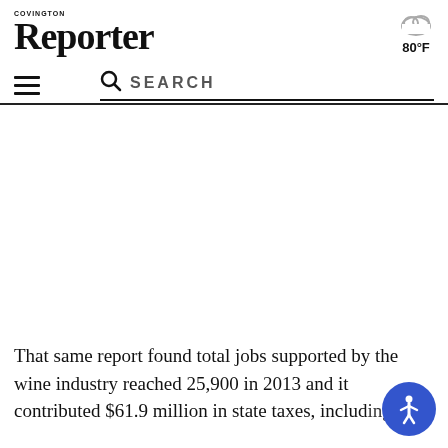COVINGTON REPORTER — 80°F
That same report found total jobs supported by the wine industry reached 25,900 in 2013 and it contributed $61.9 million in state taxes, including